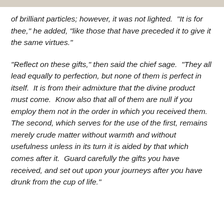of brilliant particles; however, it was not lighted.  "It is for thee," he added, "like those that have preceded it to give it the same virtues."
"Reflect on these gifts," then said the chief sage.  "They all lead equally to perfection, but none of them is perfect in itself.  It is from their admixture that the divine product must come.  Know also that all of them are null if you employ them not in the order in which you received them.  The second, which serves for the use of the first, remains merely crude matter without warmth and without usefulness unless in its turn it is aided by that which comes after it.  Guard carefully the gifts you have received, and set out upon your journeys after you have drunk from the cup of life."